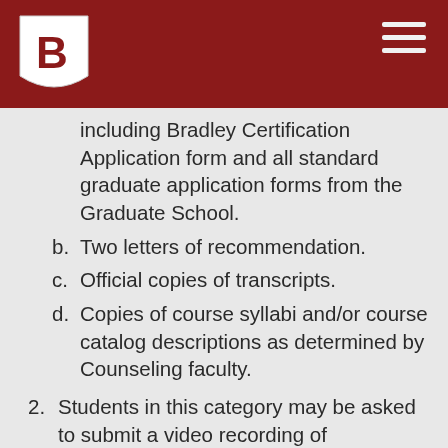Bradley University header with logo
including Bradley Certification Application form and all standard graduate application forms from the Graduate School.
b. Two letters of recommendation.
c. Official copies of transcripts.
d. Copies of course syllabi and/or course catalog descriptions as determined by Counseling faculty.
2. Students in this category may be asked to submit a video recording of counseling skills as part of their admission packet.
3. Upon receipt of admission materials all applicants are required to complete a screening interview. The screening interview shall be the same as the interview currently required for applicants to the